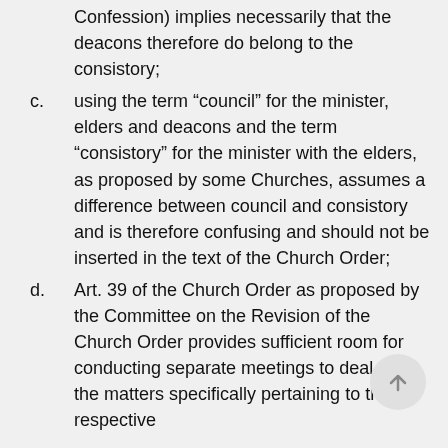(continuation) Confession) implies necessarily that the deacons therefore do belong to the consistory;
c. using the term “council” for the minister, elders and deacons and the term “consistory” for the minister with the elders, as proposed by some Churches, assumes a difference between council and consistory and is therefore confusing and should not be inserted in the text of the Church Order;
d. Art. 39 of the Church Order as proposed by the Committee on the Revision of the Church Order provides sufficient room for conducting separate meetings to deal with the matters specifically pertaining to their respective